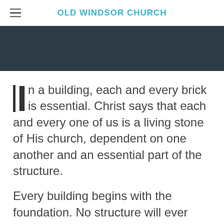OLD WINDSOR CHURCH
[Figure (photo): Dark teal/charcoal banner image area at top of page content]
In a building, each and every brick is essential. Christ says that each and every one of us is a living stone of His church, dependent on one another and an essential part of the structure.
Every building begins with the foundation. No structure will ever hold